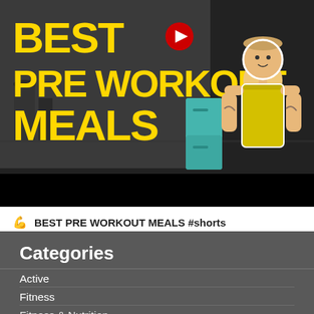[Figure (illustration): Thumbnail image showing bold yellow text 'BEST PRE WORKOUT MEALS' on dark background with a cartoon/illustrated male figure in yellow shirt and a teal refrigerator, gym background in grayscale, black bar at bottom, red YouTube-style circle icon.]
💪 BEST PRE WORKOUT MEALS #shorts
Categories
Active
Fitness
Fitness & Nutrition